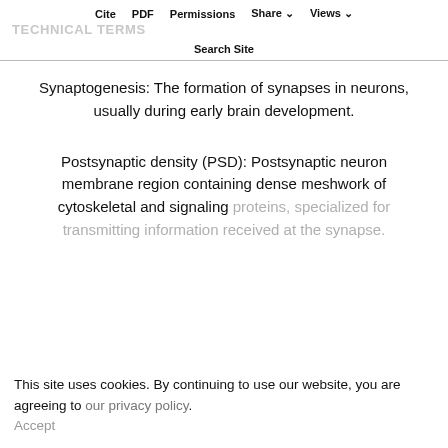Cite  PDF  Permissions  Share ∨  Views ∨
TECHNICAL TERMS
Search Site
Synaptogenesis: The formation of synapses in neurons, usually during early brain development.
Postsynaptic density (PSD): Postsynaptic neuron membrane region containing dense meshwork of cytoskeletal and signaling proteins, specialized for transmitting information received at the synapse.
This site uses cookies. By continuing to use our website, you are agreeing to our privacy policy.
Accept